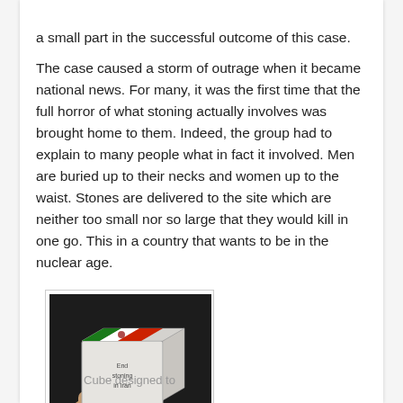a small part in the successful outcome of this case.
The case caused a storm of outrage when it became national news.  For many, it was the first time that the full horror of what stoning actually involves was brought home to them.  Indeed, the group had to explain to many people what in fact it involved.  Men are buried up to their necks and women up to the waist.  Stones are delivered to the site which are neither too small nor so large that they would kill in one go.  This in a country that wants to be in the nuclear age.
[Figure (photo): A hand holding a small white cardboard cube with the Iranian flag on top and text on the front face reading 'End stoning in Iran']
Cube designed to